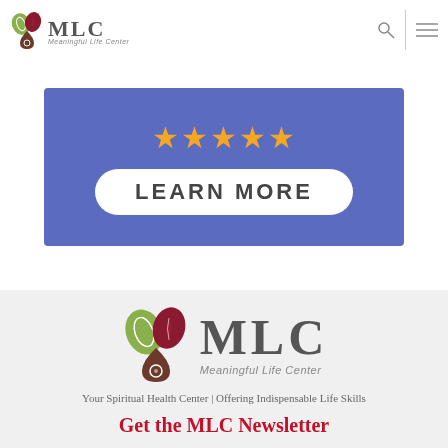MLC Meaningful Life Center
[Figure (screenshot): Blue banner with 5 gold stars and a white 'LEARN MORE' button]
[Figure (logo): MLC Meaningful Life Center logo with three leaf/teardrop icons in green, dark red, and brown]
Your Spiritual Health Center | Offering Indispensable Life Skills
Get the MLC Newsletter